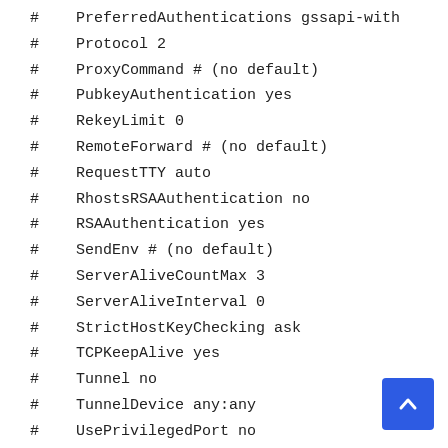#    PreferredAuthentications gssapi-with
#    Protocol 2
#    ProxyCommand # (no default)
#    PubkeyAuthentication yes
#    RekeyLimit 0
#    RemoteForward # (no default)
#    RequestTTY auto
#    RhostsRSAAuthentication no
#    RSAAuthentication yes
#    SendEnv # (no default)
#    ServerAliveCountMax 3
#    ServerAliveInterval 0
#    StrictHostKeyChecking ask
#    TCPKeepAlive yes
#    Tunnel no
#    TunnelDevice any:any
#    UsePrivilegedPort no